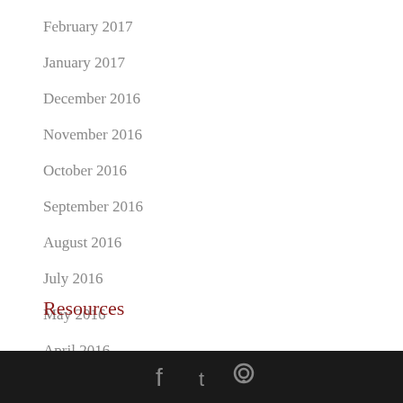February 2017
January 2017
December 2016
November 2016
October 2016
September 2016
August 2016
July 2016
May 2016
April 2016
Resources
social icons footer